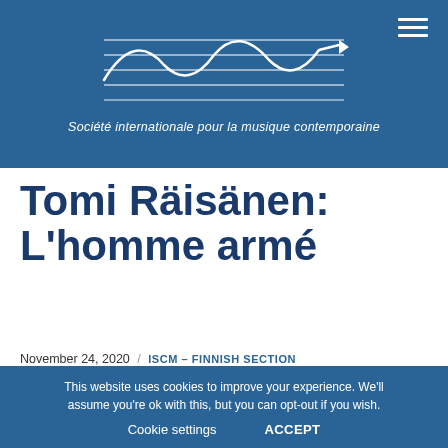[Figure (logo): ISCM logo with stylized wave/music staff lines and arrow on blue background]
Société internationale pour la musique contemporaine
Tomi Räisänen: L'homme armé
November 24, 2020 / ISCM – FINNISH SECTION
This website uses cookies to improve your experience. We'll assume you're ok with this, but you can opt-out if you wish. Cookie settings ACCEPT